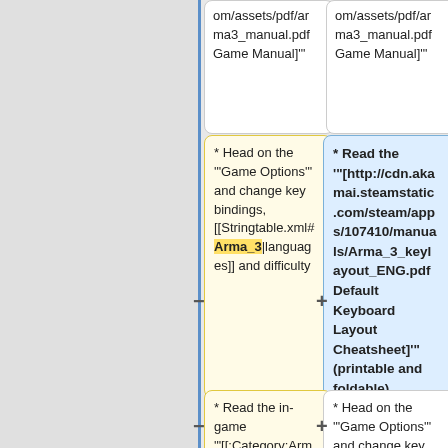om/assets/pdf/arma3_manual.pdf Game Manual]"'
om/assets/pdf/arma3_manual.pdf Game Manual]"'
* Head on the '"Game Options'" and change key bindings, [[Stringtable.xml#Arma_3|languages]] and difficulty
* Read the '"[http://cdn.akamai.steamstatic.com/steam/apps/107410/manuals/Arma_3_keylayout_ENG.pdf Default Keyboard Layout Cheatsheet]"' (printable and foldable)
* Read the in-game '"[[:Category:Arma 3: Field Manual|Field Manual]]"' (from
* Head on the '"Game Options'" and change key bindings, [[Stringtable.xml#Arma